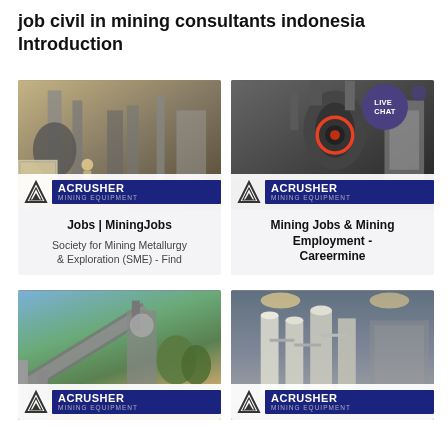job civil in mining consultants indonesia Introduction
[Figure (photo): Mining mill equipment in industrial facility with ACRUSHER Mining Equipment logo overlay]
[Figure (photo): Crusher equipment with circular red detail and LIVE CHAT bubble, ACRUSHER Mining Equipment logo overlay]
Jobs | MiningJobs
Society for Mining Metallurgy & Exploration (SME) - Find
Mining Jobs & Mining Employment - Careermine
[Figure (photo): Conveyor belt and mining processing equipment with trees in background, ACRUSHER Mining Equipment logo overlay]
[Figure (photo): Industrial filtration/processing plant interior with white cylindrical equipment, ACRUSHER Mining Equipment logo overlay]